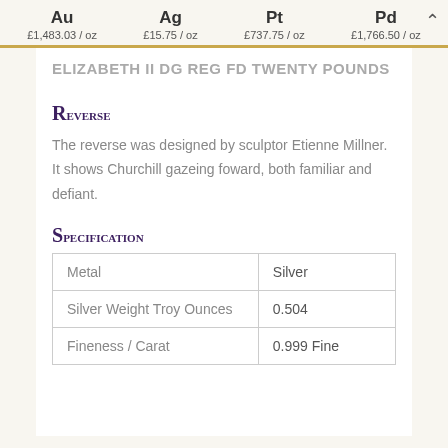Au £1,483.03 / oz   Ag £15.75 / oz   Pt £737.75 / oz   Pd £1,766.50 / oz
ELIZABETH II DG REG FD TWENTY POUNDS
Reverse
The reverse was designed by sculptor Etienne Millner. It shows Churchill gazeing foward, both familiar and defiant.
Specification
| Metal | Silver Weight Troy Ounces | Fineness / Carat |
| --- | --- | --- |
| Metal | Silver |
| Silver Weight Troy Ounces | 0.504 |
| Fineness / Carat | 0.999 Fine |